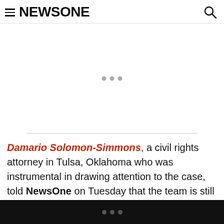NEWSONE
Damario Solomon-Simmons, a civil rights attorney in Tulsa, Oklahoma who was instrumental in drawing attention to the case, told NewsOne on Tuesday that the team is still working out logistics in the case.